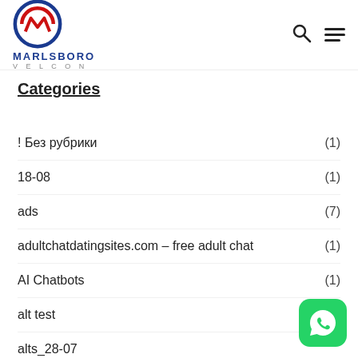[Figure (logo): Marlsboro Velcon logo with circular red and blue emblem and text MARLSBORO VELCON]
Categories
! Без рубрики (1)
18-08 (1)
ads (7)
adultchatdatingsites.com – free adult chat (1)
AI Chatbots (1)
alt test (2)
alts_28-07
[Figure (logo): WhatsApp icon button in green rounded square]